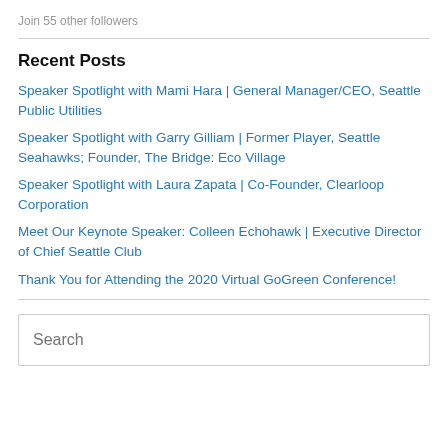Join 55 other followers
Recent Posts
Speaker Spotlight with Mami Hara | General Manager/CEO, Seattle Public Utilities
Speaker Spotlight with Garry Gilliam | Former Player, Seattle Seahawks; Founder, The Bridge: Eco Village
Speaker Spotlight with Laura Zapata | Co-Founder, Clearloop Corporation
Meet Our Keynote Speaker: Colleen Echohawk | Executive Director of Chief Seattle Club
Thank You for Attending the 2020 Virtual GoGreen Conference!
Search